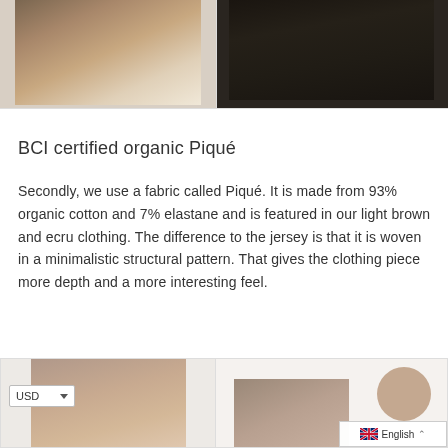[Figure (photo): Top-left fashion photo showing light brown/ecru clothing with a neutral background]
[Figure (photo): Top-right fashion photo showing dark clothing against a dark background]
BCI certified organic Piqué
Secondly, we use a fabric called Piqué. It is made from 93% organic cotton and 7% elastane and is featured in our light brown and ecru clothing. The difference to the jersey is that it is woven in a minimalistic structural pattern. That gives the clothing piece more depth and a more interesting feel.
[Figure (photo): Bottom-left fashion photo showing model in light colored top, with USD currency selector visible]
[Figure (photo): Bottom-right fashion photo showing model with chat bubble icon overlay and English language selector]